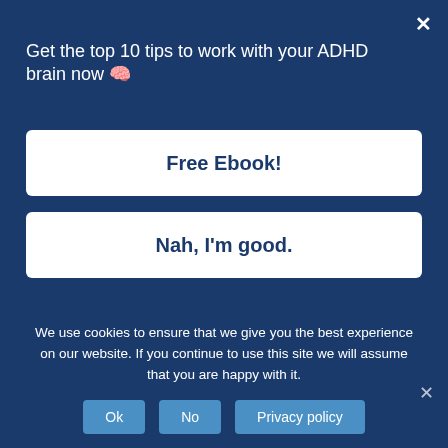Get the top 10 tips to work with your ADHD brain now 🧠
Free Ebook!
Nah, I'm good.
question topics like, "What will they think? I do this? What about when I do that? What will she think specifically? And what about if she talks to that person about me? What will that person think?
Or maybe we have just one or two people, maybe it's
We use cookies to ensure that we give you the best experience on our website. If you continue to use this site we will assume that you are happy with it.